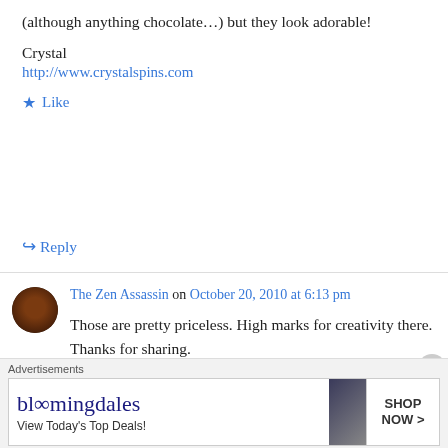(although anything chocolate…) but they look adorable!
Crystal
http://www.crystalspins.com
★ Like
↪ Reply
The Zen Assassin on October 20, 2010 at 6:13 pm
Those are pretty priceless. High marks for creativity there. Thanks for sharing.
★ Like
Advertisements
[Figure (screenshot): Bloomingdale's advertisement banner: logo text 'bloomingdales', tagline 'View Today's Top Deals!', image of woman in hat, 'SHOP NOW >' button]